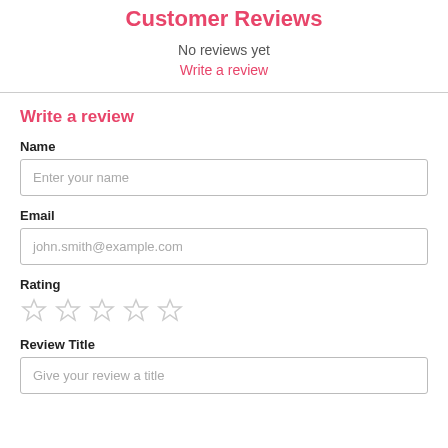Customer Reviews
No reviews yet
Write a review
Write a review
Name
Enter your name
Email
john.smith@example.com
Rating
[Figure (illustration): Five empty star rating icons]
Review Title
Give your review a title